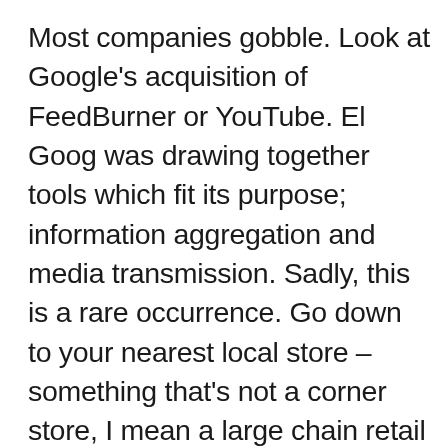Most companies gobble. Look at Google's acquisition of FeedBurner or YouTube. El Goog was drawing together tools which fit its purpose; information aggregation and media transmission. Sadly, this is a rare occurrence. Go down to your nearest local store – something that's not a corner store, I mean a large chain retail place. Anything that doesn't fall into the boutique category. Ever see a grocery store selling DVDs? A computer store selling beany babies? These bids to play on impulse buying habits already